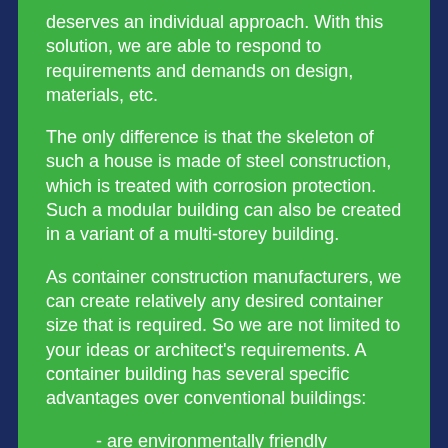deserves an individual approach. With this solution, we are able to respond to requirements and demands on design, materials, etc.
The only difference is that the skeleton of such a house is made of steel construction, which is treated with corrosion protection. Such a modular building can also be created in a variant of a multi-storey building.
As container construction manufacturers, we can create relatively any desired container size that is required. So we are not limited to your ideas or architect's requirements. A container building has several specific advantages over conventional buildings:
- are environmentally friendly
- cheaper solutions
- real relocation (disassembly, assembly)
- a trend in western EU countries
- speed of implementation